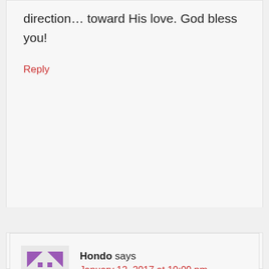direction… toward His love. God bless you!
Reply
[Figure (logo): Purple and grey avatar icon with geometric pattern resembling an X or cross shape]
Hondo says
January 12, 2017 at 10:09 pm
I'm not real sure how I wound up on your site tonight but I that God I did. This is a blessing and I praise the Lord that I found this. As we all know faith is harder to keep up with and keep going than other times